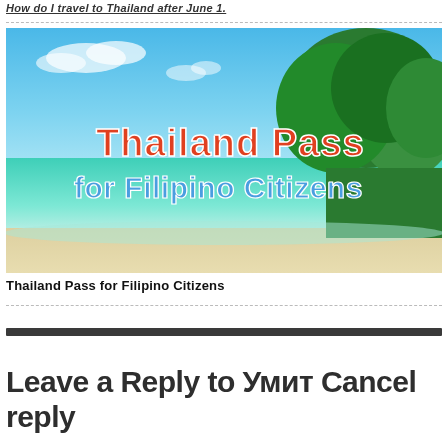How do I travel to Thailand after June 1.
[Figure (photo): Tropical beach scene with turquoise water, sandy beach, and green trees under a blue sky. Overlaid text reads 'Thailand Pass for Filipino Citizens' in large red and blue lettering.]
Thailand Pass for Filipino Citizens
Leave a Reply to Умит Cancel reply